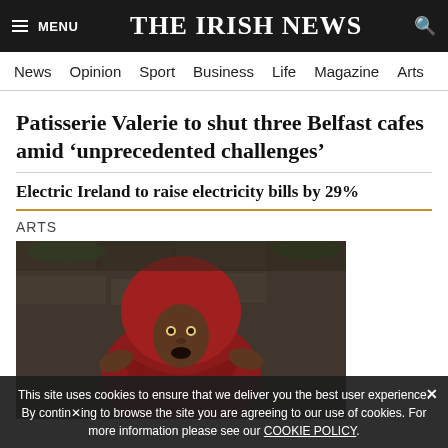THE IRISH NEWS
News  Opinion  Sport  Business  Life  Magazine  Arts
Patisserie Valerie to shut three Belfast cafes amid ‘unprecedented challenges’
Electric Ireland to raise electricity bills by 29%
ARTS
[Figure (photo): A person wearing a red hood/cloak in a dark stone setting, looking toward camera with an intense expression.]
This site uses cookies to ensure that we deliver you the best user experience. By continuing to browse the site you are agreeing to our use of cookies. For more information please see our COOKIE POLICY.